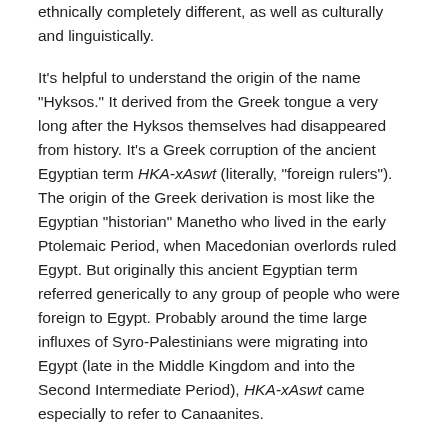ethnically completely different, as well as culturally and linguistically.
It's helpful to understand the origin of the name "Hyksos." It derived from the Greek tongue a very long after the Hyksos themselves had disappeared from history. It's a Greek corruption of the ancient Egyptian term HKA-xAswt (literally, "foreign rulers"). The origin of the Greek derivation is most like the Egyptian "historian" Manetho who lived in the early Ptolemaic Period, when Macedonian overlords ruled Egypt. But originally this ancient Egyptian term referred generically to any group of people who were foreign to Egypt. Probably around the time large influxes of Syro-Palestinians were migrating into Egypt (late in the Middle Kingdom and into the Second Intermediate Period), HKA-xAswt came especially to refer to Canaanites.
Analysis of Hyksos centers like Avaris helps to clarify who the bulk of the Hyksos population were. Based on their ceramics and other material culture, shrines, architecture, and burial customs, they were primarily southern Palestinians (Canaanites). Ahmose I wrested them from Avaris and out of the Delta and all the way into the Negev. One of his generals left an autobiographical account in which he described how the Hyksos took up refuge in a walled fortress in the Negev, where the Egyptians besieged them, stormed the city, and slaughtered the entire population.